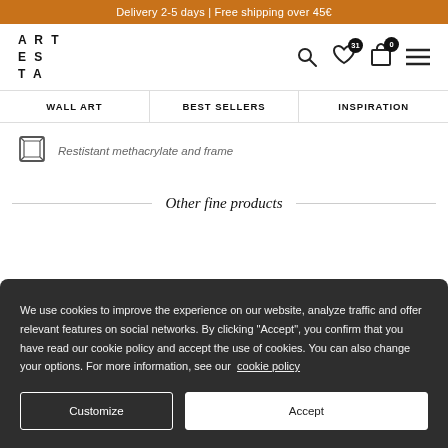Delivery 2-5 days | Free shipping over 45€
[Figure (logo): ARTESTA logo - stacked letters A R T / E S / T A]
[Figure (infographic): Navigation icons: search magnifying glass, heart with badge '31', shopping bag with badge '0', hamburger menu]
WALL ART | BEST SELLERS | INSPIRATION
[Figure (illustration): Frame/methacrylate icon - rectangular frame outline]
Restistant methacrylate and frame
Other fine products
We use cookies to improve the experience on our website, analyze traffic and offer relevant features on social networks. By clicking "Accept", you confirm that you have read our cookie policy and accept the use of cookies. You can also change your options. For more information, see our cookie policy